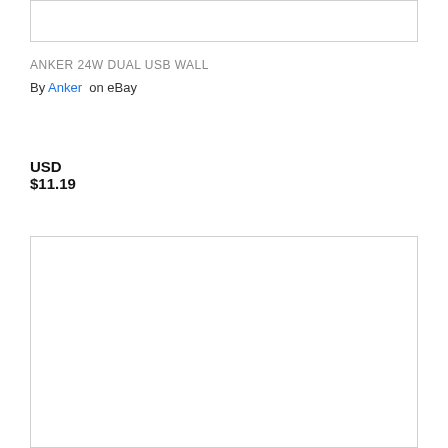[Figure (other): Top partial image box, blank white rectangle with border]
ANKER 24W DUAL USB WALL
By Anker on eBay   USD $11.19
[Figure (photo): Product photo of Anker 24W dual USB wall charger, white, with ANKER logo and +IQ marking on two USB ports, set against white background inside a bordered box]